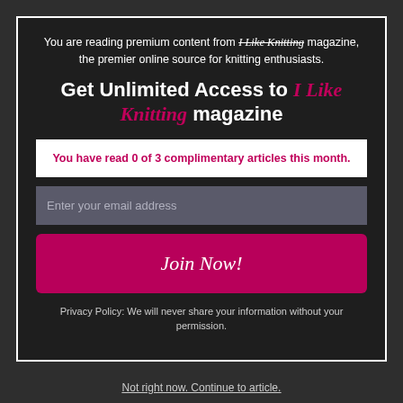You are reading premium content from I Like Knitting magazine, the premier online source for knitting enthusiasts.
Get Unlimited Access to I Like Knitting magazine
You have read 0 of 3 complimentary articles this month.
Enter your email address
Join Now!
Privacy Policy: We will never share your information without your permission.
Not right now. Continue to article.